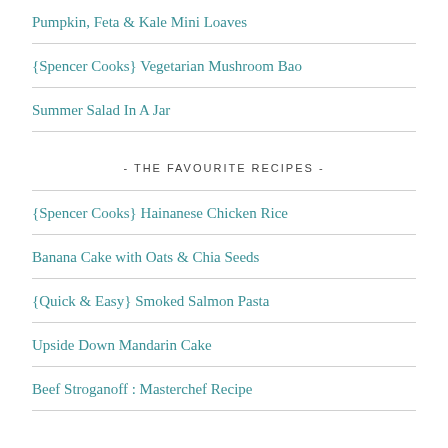Pumpkin, Feta & Kale Mini Loaves
{Spencer Cooks} Vegetarian Mushroom Bao
Summer Salad In A Jar
- THE FAVOURITE RECIPES -
{Spencer Cooks} Hainanese Chicken Rice
Banana Cake with Oats & Chia Seeds
{Quick & Easy} Smoked Salmon Pasta
Upside Down Mandarin Cake
Beef Stroganoff : Masterchef Recipe